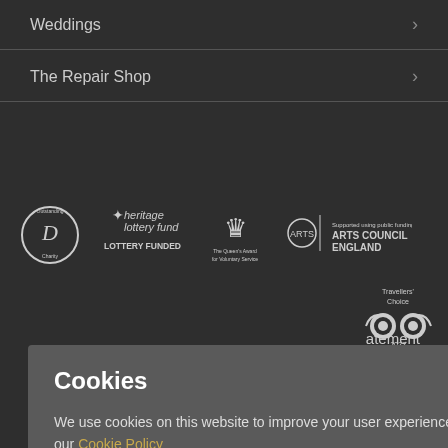Weddings
The Repair Shop
[Figure (logo): Row of logos: Doris Outstanding Charity, Heritage Lottery Fund - Lottery Funded, The Queen's Award for Voluntary Service, Arts Council England]
[Figure (logo): TripAdvisor Travellers Choice 2022 Best of the Best]
atement
y.
Cookies
We use cookies on this website to improve your user experience. For more information, please see our Cookie Policy
OKAY